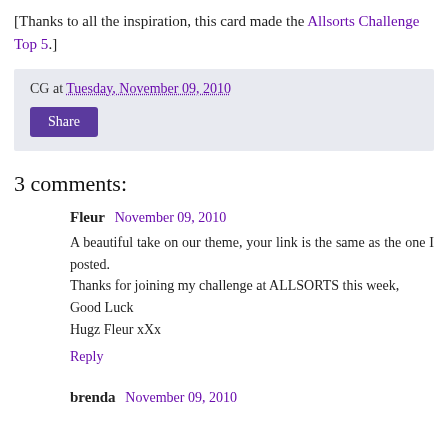[Thanks to all the inspiration, this card made the Allsorts Challenge Top 5.]
CG at Tuesday, November 09, 2010
Share
3 comments:
Fleur  November 09, 2010
A beautiful take on our theme, your link is the same as the one I posted.
Thanks for joining my challenge at ALLSORTS this week,
Good Luck
Hugz Fleur xXx
Reply
brenda  November 09, 2010